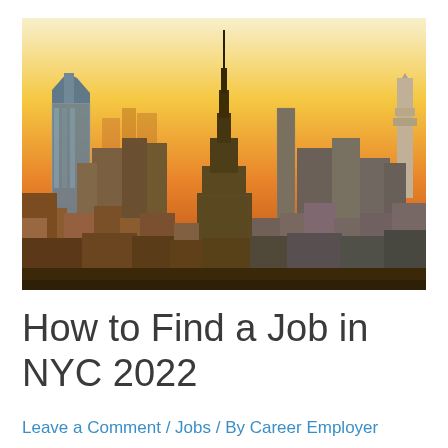[Figure (photo): Aerial photograph of the New York City skyline at sunset/dusk with orange sky, featuring the Empire State Building prominently in the center, surrounded by dense urban skyscrapers and midtown Manhattan buildings.]
How to Find a Job in NYC 2022
Leave a Comment / Jobs / By Career Employer